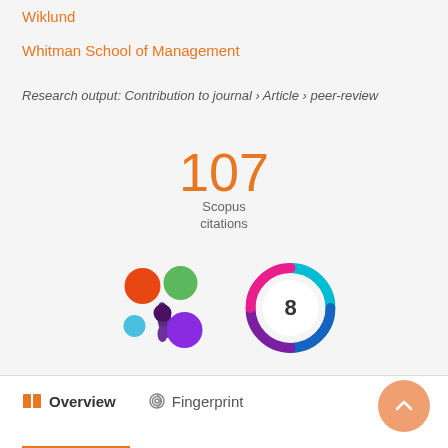Wiklund
Whitman School of Management
Research output: Contribution to journal › Article › peer-review
[Figure (infographic): 107 Scopus citations badge]
[Figure (other): Altmetric logo (colored circles in a splat shape) and a circular badge with number 8]
Overview
Fingerprint